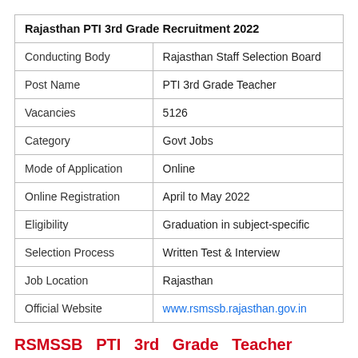| Rajasthan PTI 3rd Grade Recruitment 2022 |  |
| --- | --- |
| Conducting Body | Rajasthan Staff Selection Board |
| Post Name | PTI 3rd Grade Teacher |
| Vacancies | 5126 |
| Category | Govt Jobs |
| Mode of Application | Online |
| Online Registration | April to May 2022 |
| Eligibility | Graduation in subject-specific |
| Selection Process | Written Test & Interview |
| Job Location | Rajasthan |
| Official Website | www.rsmssb.rajasthan.gov.in |
RSMSSB PTI 3rd Grade Teacher Recruitment 2022 Important Dates